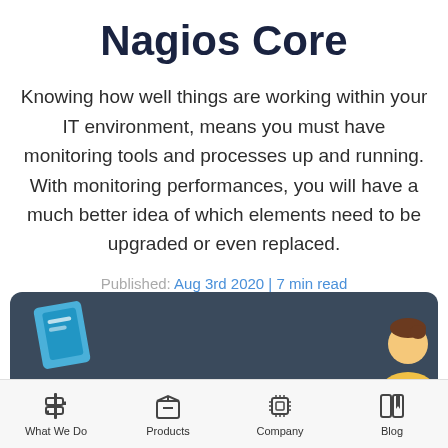Nagios Core
Knowing how well things are working within your IT environment, means you must have monitoring tools and processes up and running. With monitoring performances, you will have a much better idea of which elements need to be upgraded or even replaced.
Published: Aug 3rd 2020 | 7 min read
[Figure (illustration): Dark blue/grey banner with a blue document/book shape on the left and a cartoon person avatar on the right]
What We Do | Products | Company | Blog